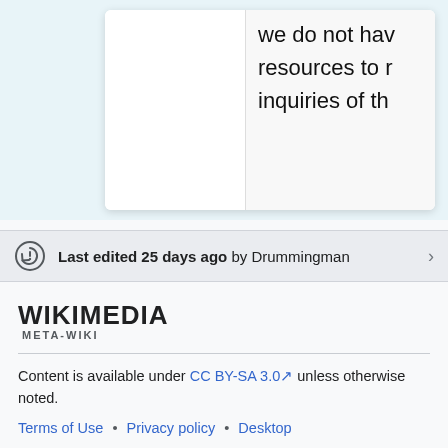[Figure (screenshot): Partial view of a table with two columns; right column shows text: 'we do not hav... resources to r... inquiries of th...' on a light gray background]
Last edited 25 days ago by Drummingman
[Figure (logo): Wikimedia Meta-Wiki logo with bold uppercase WIKIMEDIA and smaller META-WIKI below]
Content is available under CC BY-SA 3.0 unless otherwise noted.
Terms of Use • Privacy policy • Desktop